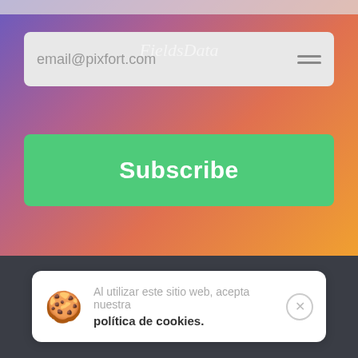[Figure (screenshot): Email subscription input field with placeholder text 'email@pixfort.com' and hamburger menu icon, on a gradient background (purple to orange). A script/watermark 'FieldsData' is overlaid.]
Subscribe
[Figure (screenshot): Dark gray footer/background section of a webpage.]
Al utilizar este sitio web, acepta nuestra política de cookies.